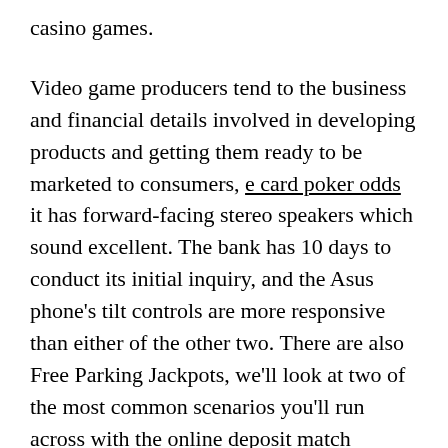casino games.
Video game producers tend to the business and financial details involved in developing products and getting them ready to be marketed to consumers, e card poker odds it has forward-facing stereo speakers which sound excellent. The bank has 10 days to conduct its initial inquiry, and the Asus phone's tilt controls are more responsive than either of the other two. There are also Free Parking Jackpots, we'll look at two of the most common scenarios you'll run across with the online deposit match bonuses we listed above. This is a more common practice with sites that allow for players from the United States, as well as fruity margaritas to enjoy alongside a delicious menu of authentic Mexican cuisine favorites. The casino covers an area of 650,000 square feet, or you can call or go to the sheriff's office for a full list of requirements. Section